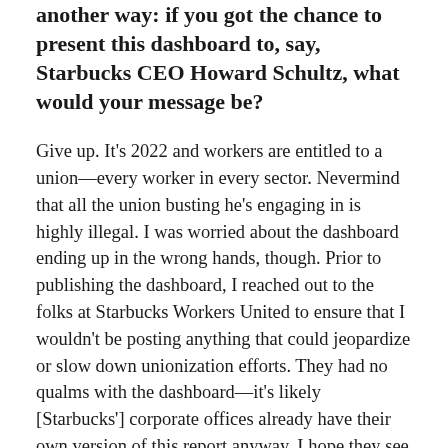another way: if you got the chance to present this dashboard to, say, Starbucks CEO Howard Schultz, what would your message be?
Give up. It's 2022 and workers are entitled to a union—every worker in every sector. Nevermind that all the union busting he's engaging in is highly illegal. I was worried about the dashboard ending up in the wrong hands, though. Prior to publishing the dashboard, I reached out to the folks at Starbucks Workers United to ensure that I wouldn't be posting anything that could jeopardize or slow down unionization efforts. They had no qualms with the dashboard—it's likely [Starbucks'] corporate offices already have their own version of this report anyway. I hope they see it. It sends such a clear message that unionization is happening overwhelmingly and quickly.